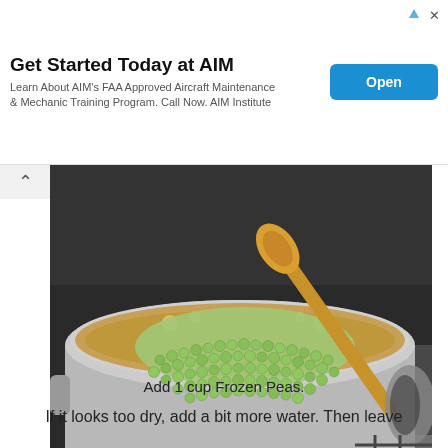[Figure (other): Advertisement banner for AIM Institute with title 'Get Started Today at AIM', body text about FAA Approved Aircraft Maintenance & Mechanic Training Program, and a blue 'Open' button]
[Figure (photo): Overhead photo of a large stainless steel pot on a stove containing broth/liquid with frozen green peas being added, and a wooden spoon stirring]
Add 1 cup Frozen Peas.
If it looks too dry, add a bit more water. Then leave